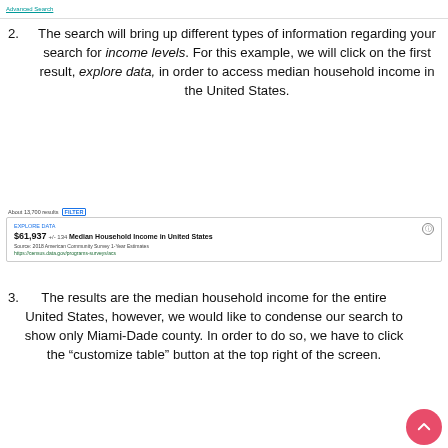Advanced Search
2. The search will bring up different types of information regarding your search for income levels. For this example, we will click on the first result, explore data, in order to access median household income in the United States.
[Figure (screenshot): Screenshot of a search results page showing 'About 13,700 results FILTER' and a result box with '$61,937 +/- 134 Median Household Income in United States', source: 2018 American Community Survey 1-Year Estimates, URL: https://census.data.gov/programs-surveys/acs]
3. The results are the median household income for the entire United States, however, we would like to condense our search to show only Miami-Dade county. In order to do so, we have to click the "customize table" button at the top right of the screen.